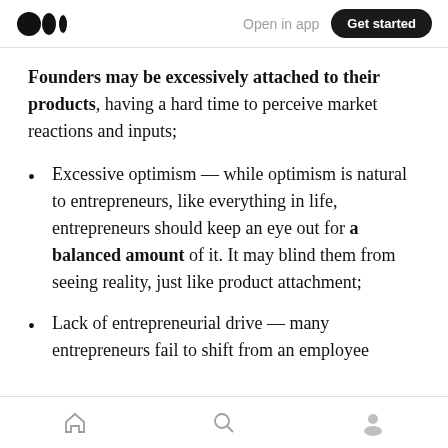Medium app header — Open in app | Get started
Founders may be excessively attached to their products, having a hard time to perceive market reactions and inputs;
Excessive optimism — while optimism is natural to entrepreneurs, like everything in life, entrepreneurs should keep an eye out for a balanced amount of it. It may blind them from seeing reality, just like product attachment;
Lack of entrepreneurial drive — many entrepreneurs fail to shift from an employee
Bottom navigation bar — Home, Search, Profile